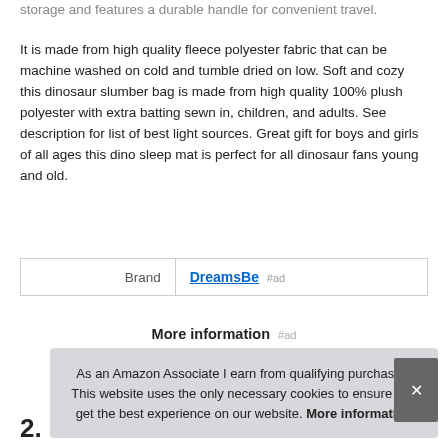storage and features a durable handle for convenient travel.
It is made from high quality fleece polyester fabric that can be machine washed on cold and tumble dried on low. Soft and cozy this dinosaur slumber bag is made from high quality 100% plush polyester with extra batting sewn in, children, and adults. See description for list of best light sources. Great gift for boys and girls of all ages this dino sleep mat is perfect for all dinosaur fans young and old.
|  |  |
| --- | --- |
| Brand | DreamsBe #ad |
More information #ad
As an Amazon Associate I earn from qualifying purchases. This website uses the only necessary cookies to ensure you get the best experience on our website. More information
2.